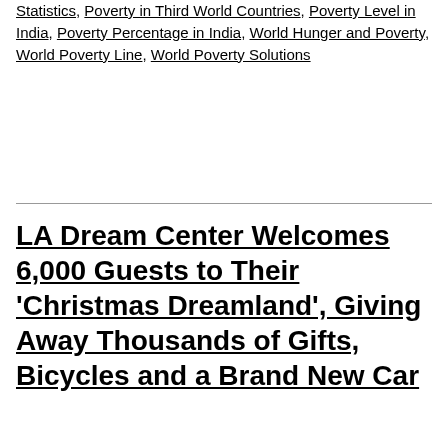Poverty Facts, Poverty in India Facts, Poverty in India Statistics, Poverty in Third World Countries, Poverty Level in India, Poverty Percentage in India, World Hunger and Poverty, World Poverty Line, World Poverty Solutions
LA Dream Center Welcomes 6,000 Guests to Their ‘Christmas Dreamland’, Giving Away Thousands of Gifts, Bicycles and a Brand New Car